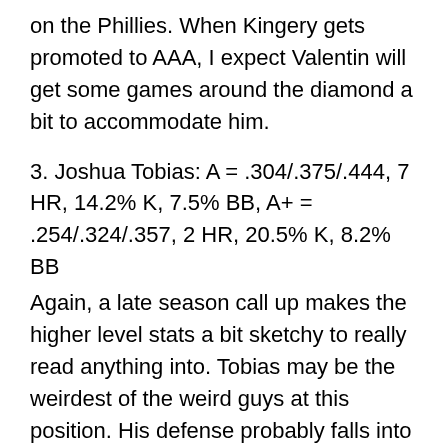on the Phillies. When Kingery gets promoted to AAA, I expect Valentin will get some games around the diamond a bit to accommodate him.
3. Joshua Tobias: A = .304/.375/.444, 7 HR, 14.2% K, 7.5% BB, A+ = .254/.324/.357, 2 HR, 20.5% K, 8.2% BB
Again, a late season call up makes the higher level stats a bit sketchy to really read anything into. Tobias may be the weirdest of the weird guys at this position. His defense probably falls into the hot mess bucket per most reports, but dude just keeps hitting. Sure he's playing at a level where he's older than most players, but he can't control that. Unless his defense makes sudden, lightspeed improvement Tobias won't be an everyday Second Baseman. However, if he can hit reliably there may be a bench role for him as a Left